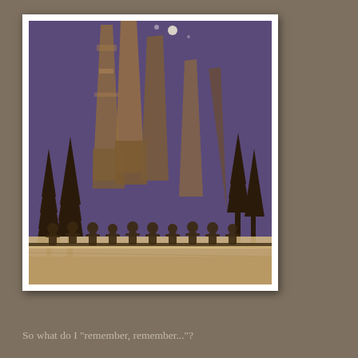[Figure (photo): A close-up photograph of a decorative art piece featuring metal silhouette cutouts of trees and small human figures arranged in a row along a wooden base, set against a purple background with rusty/textured tall building-like shapes.]
So what do I "remember, remember..."?